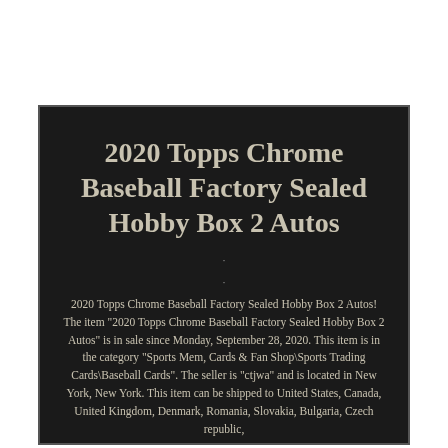2020 Topps Chrome Baseball Factory Sealed Hobby Box 2 Autos
2020 Topps Chrome Baseball Factory Sealed Hobby Box 2 Autos! The item "2020 Topps Chrome Baseball Factory Sealed Hobby Box 2 Autos" is in sale since Monday, September 28, 2020. This item is in the category "Sports Mem, Cards & Fan Shop\Sports Trading Cards\Baseball Cards". The seller is "ctjwa" and is located in New York, New York. This item can be shipped to United States, Canada, United Kingdom, Denmark, Romania, Slovakia, Bulgaria, Czech republic,